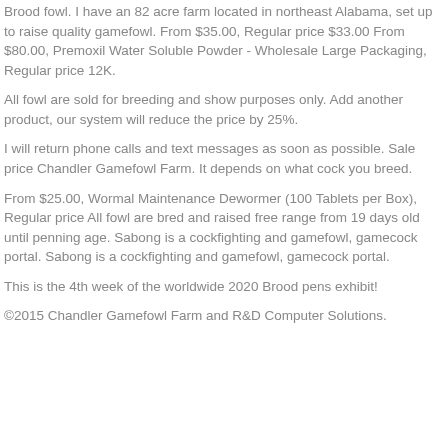Brood fowl. I have an 82 acre farm located in northeast Alabama, set up to raise quality gamefowl. From $35.00, Regular price $33.00 From $80.00, Premoxil Water Soluble Powder - Wholesale Large Packaging, Regular price 12K.
All fowl are sold for breeding and show purposes only. Add another product, our system will reduce the price by 25%.
I will return phone calls and text messages as soon as possible. Sale price Chandler Gamefowl Farm. It depends on what cock you breed.
From $25.00, Wormal Maintenance Dewormer (100 Tablets per Box), Regular price All fowl are bred and raised free range from 19 days old until penning age. Sabong is a cockfighting and gamefowl, gamecock portal. Sabong is a cockfighting and gamefowl, gamecock portal.
This is the 4th week of the worldwide 2020 Brood pens exhibit!
©2015 Chandler Gamefowl Farm and R&D Computer Solutions.